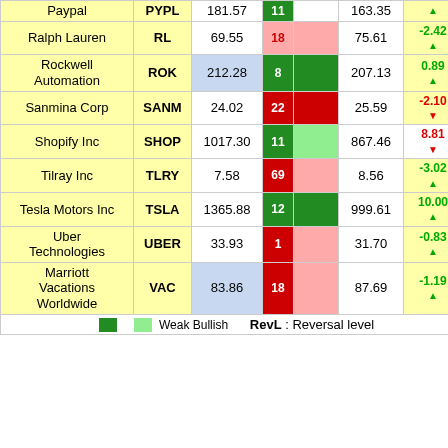| Company | Ticker | Price | Rank |  | RevL | Pct |  |
| --- | --- | --- | --- | --- | --- | --- | --- |
| Paypal | PYPL | 181.57 | 11 |  | 163.35 | ▲ | 6 |
| Ralph Lauren | RL | 69.55 | 18 |  | 75.61 | -2.42 ▲ | 1 |
| Rockwell Automation | ROK | 212.28 | 8 |  | 207.13 | 0.89 ▲ | 5 |
| Sanmina Corp | SANM | 24.02 | 22 |  | 25.59 | -2.10 ▼ | 1 |
| Shopify Inc | SHOP | 1017.30 | 11 |  | 867.46 | 8.81 ▼ | 6 |
| Tilray Inc | TLRY | 7.58 | 69 |  | 8.56 | -3.02 ▲ | 1 |
| Tesla Motors Inc | TSLA | 1365.88 | 12 |  | 999.61 | 10.00 ▲ | 6 |
| Uber Technologies | UBER | 33.93 | 1 |  | 31.70 | -0.83 ▲ | 0 |
| Marriott Vacations Worldwide | VAC | 83.86 | 18 |  | 87.69 | -1.19 ▲ | 1 |
RevL : Reversal level